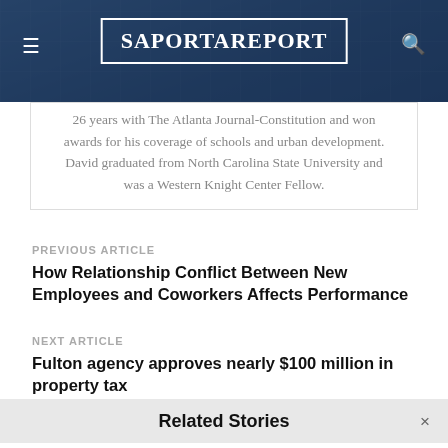SaportaReport
26 years with The Atlanta Journal-Constitution and won awards for his coverage of schools and urban development. David graduated from North Carolina State University and was a Western Knight Center Fellow.
PREVIOUS ARTICLE
How Relationship Conflict Between New Employees and Coworkers Affects Performance
NEXT ARTICLE
Fulton agency approves nearly $100 million in property tax
Related Stories
Residents become scientists for the day with The Great Georgia Pollinator Count